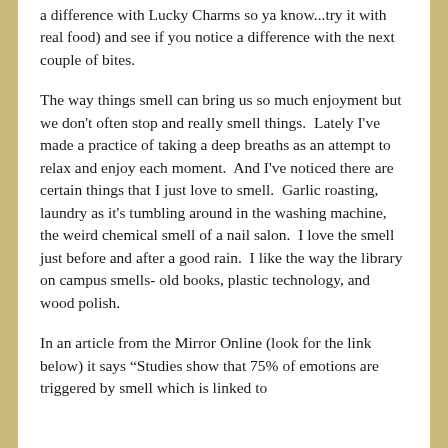a difference with Lucky Charms so ya know...try it with real food) and see if you notice a difference with the next couple of bites.
The way things smell can bring us so much enjoyment but we don't often stop and really smell things.  Lately I've made a practice of taking a deep breaths as an attempt to relax and enjoy each moment.  And I've noticed there are certain things that I just love to smell.  Garlic roasting, laundry as it's tumbling around in the washing machine, the weird chemical smell of a nail salon.  I love the smell just before and after a good rain.  I like the way the library on campus smells- old books, plastic technology, and wood polish.
In an article from the Mirror Online (look for the link below) it says “Studies show that 75% of emotions are triggered by smell which is linked to